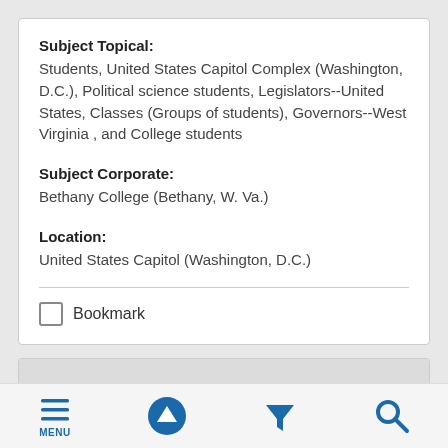Subject Topical:
Students, United States Capitol Complex (Washington, D.C.), Political science students, Legislators--United States, Classes (Groups of students), Governors--West Virginia , and College students
Subject Corporate:
Bethany College (Bethany, W. Va.)
Location:
United States Capitol (Washington, D.C.)
Bookmark